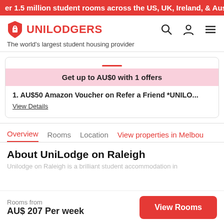er 1.5 million student rooms across the US, UK, Ireland, & Austr
[Figure (logo): Unilodgers shield logo in red with white lock icon, followed by UNILODGERS text in red]
The world's largest student housing provider
Get up to AU$0 with 1 offers
1. AU$50 Amazon Voucher on Refer a Friend *UNILO...
View Details
Overview   Rooms   Location   View properties in Melbou
About UniLodge on Raleigh
Unilodge on Raleigh is a brilliant student accommodation in
Rooms from
AU$ 207 Per week
View Rooms